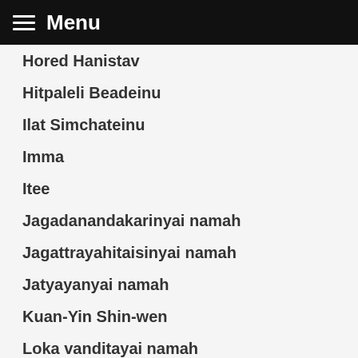Menu
Hored Hanistav
Hitpaleli Beadeinu
Ilat Simchateinu
Imma
Itee
Jagadanandakarinyai namah
Jagattrayahitaisinyai namah
Jatyayanyai namah
Kuan-Yin Shin-wen
Loka vanditayai namah
Machahuay
Mahavidiyayai namah
Malcat Ha’avot
Malcat Hamalachim
Malcat Hamodianim
Malcat Haneviim